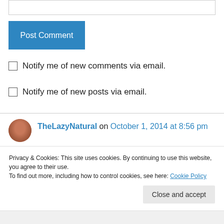[Figure (screenshot): Text input box at top of page]
[Figure (screenshot): Post Comment button, blue background]
Notify me of new comments via email.
Notify me of new posts via email.
TheLazyNatural on October 1, 2014 at 8:56 pm
Lmao, the part about your mum and cats, my mum is that way too
Privacy & Cookies: This site uses cookies. By continuing to use this website, you agree to their use.
To find out more, including how to control cookies, see here: Cookie Policy